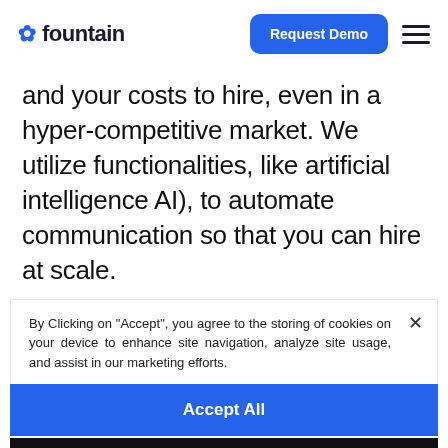fountain | Request Demo | [menu]
and your costs to hire, even in a hyper-competitive market. We utilize functionalities, like artificial intelligence AI), to automate communication so that you can hire at scale.
By Clicking on "Accept", you agree to the storing of cookies on your device to enhance site navigation, analyze site usage, and assist in our marketing efforts.
Accept All
Deny All
Do Not Sell My Information